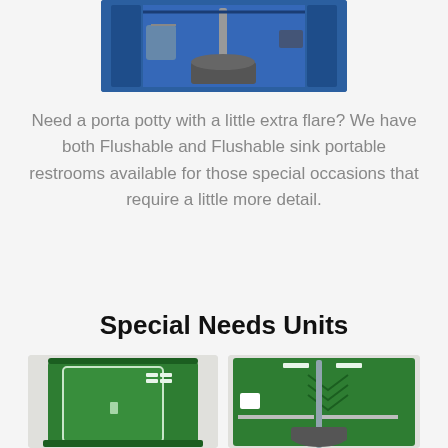[Figure (photo): Interior view of a blue portable restroom unit with visible plumbing and toilet components]
Need a porta potty with a little extra flare?  We have both Flushable and Flushable sink portable restrooms available for those special occasions that require a little more detail.
Special Needs Units
[Figure (photo): Exterior view of a green portable toilet/special needs unit showing closed door]
[Figure (photo): Interior view of a green ADA/special needs portable restroom unit showing grab bars and toilet]